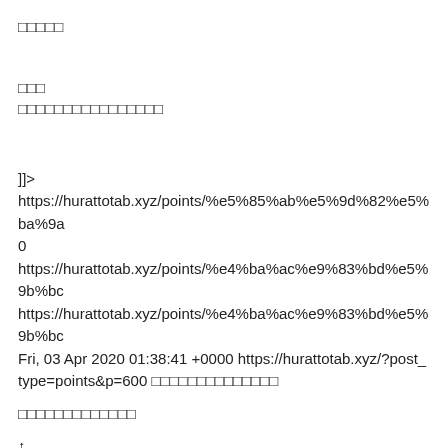□□□□□
□□□
□□□□□□□□□□□□□□□□
]]>
https://hurattotab.xyz/points/%e5%85%ab%e5%9d%82%e5%ba%9a
0
https://hurattotab.xyz/points/%e4%ba%ac%e9%83%bd%e5%9b%bc
https://hurattotab.xyz/points/%e4%ba%ac%e9%83%bd%e5%9b%bc
Fri, 03 Apr 2020 01:38:41 +0000 https://hurattotab.xyz/?post_type=points&p=600 □□□□□□□□□□□□□□
□□□□□□□□□□□□□
↑
□□□□□□□□□□□□□□□□□
□□□□□□□□□□□□□□